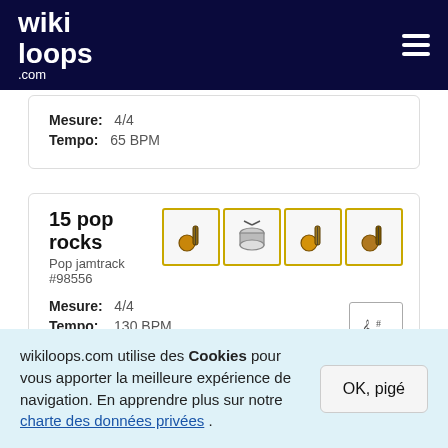wikiloops.com
Mesure: 4/4
Tempo: 65 BPM
15 pop rocks
Pop jamtrack #98556
Mesure: 4/4
Tempo: 130 BPM
Clé: C major
Ressemble: Rock
wikiloops.com utilise des Cookies pour vous apporter la meilleure expérience de navigation. En apprendre plus sur notre charte des données privées .